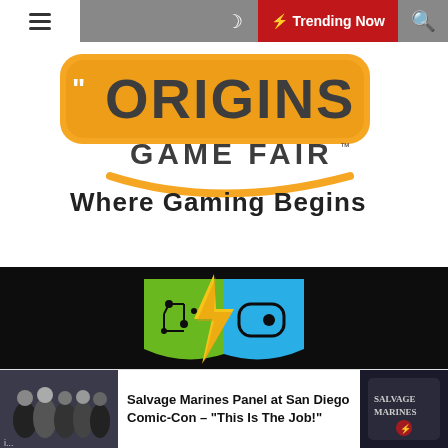≡  🌙  ⚡ Trending Now  🔍
[Figure (logo): Origins Game Fair logo with orange bubble text and tagline 'Where Gaming Begins']
[Figure (logo): Dark background logo with green circuit-board half-shield, blue game-controller half-shield, and gold/orange lightning bolt in center]
[Figure (photo): Thumbnail image of Salvage Marines cast]
Salvage Marines Panel at San Diego Comic-Con – "This Is The Job!"
[Figure (photo): Thumbnail image related to Salvage Marines]